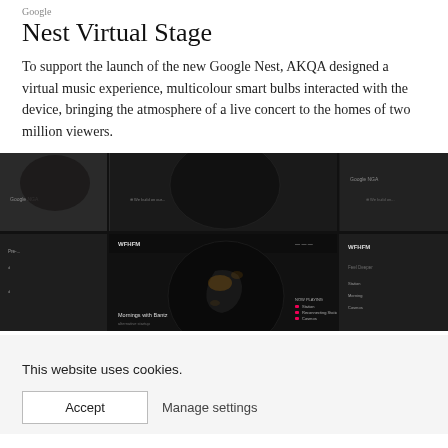Nest Virtual Stage
To support the launch of the new Google Nest, AKQA designed a virtual music experience, multicolour smart bulbs interacted with the device, bringing the atmosphere of a live concert to the homes of two million viewers.
[Figure (screenshot): Screenshot of WFHFM virtual music experience website showing a dark interface with a globe/earth image and text 'Mornings with Bantz', with multiple panel views]
This website uses cookies.
Accept    Manage settings